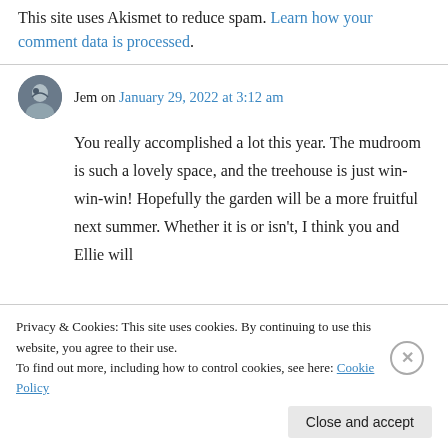This site uses Akismet to reduce spam. Learn how your comment data is processed.
Jem on January 29, 2022 at 3:12 am
You really accomplished a lot this year. The mudroom is such a lovely space, and the treehouse is just win-win-win! Hopefully the garden will be a more fruitful next summer. Whether it is or isn't, I think you and Ellie will
Privacy & Cookies: This site uses cookies. By continuing to use this website, you agree to their use.
To find out more, including how to control cookies, see here: Cookie Policy
Close and accept